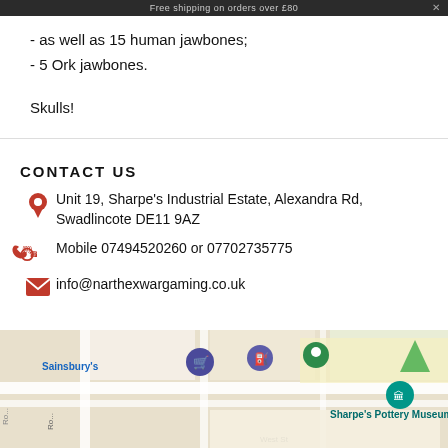Free shipping on orders over £80
- as well as 15 human jawbones;
- 5 Ork jawbones.
Skulls!
CONTACT US
Unit 19, Sharpe's Industrial Estate, Alexandra Rd, Swadlincote DE11 9AZ
Mobile 07494520260 or 07702735775
info@narthexwargaming.co.uk
[Figure (map): Google Maps screenshot showing Sainsbury's, Sharpe's Pottery Museum, and surrounding streets in Swadlincote area.]